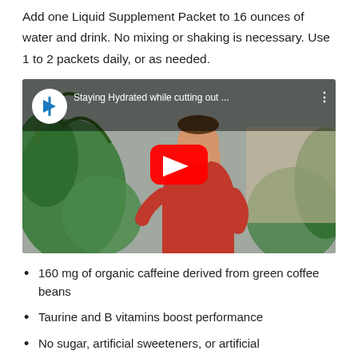Add one Liquid Supplement Packet to 16 ounces of water and drink. No mixing or shaking is necessary. Use 1 to 2 packets daily, or as needed.
[Figure (screenshot): YouTube video thumbnail showing a man in a red shirt outdoors with plants, titled 'Staying Hydrated while cutting out ...' with a YouTube play button overlay and channel icon]
160 mg of organic caffeine derived from green coffee beans
Taurine and B vitamins boost performance
No sugar, artificial sweeteners, or artificial